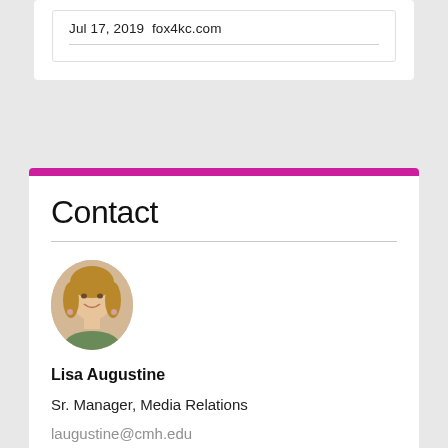Jul 17, 2019  fox4kc.com
Contact
[Figure (photo): Headshot photo of Lisa Augustine, a woman with shoulder-length blonde hair, smiling, wearing earrings]
Lisa Augustine
Sr. Manager, Media Relations
laugustine@cmh.edu
816.302.0197